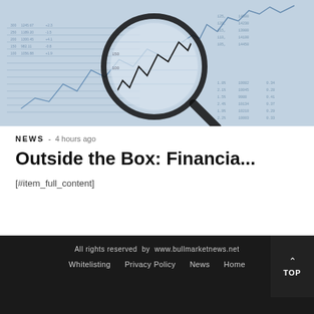[Figure (photo): Financial charts, stock market graphs, and a magnifying glass over financial data documents. Blue-toned/monochrome image.]
NEWS  -  4 hours ago
Outside the Box: Financia...
[#item_full_content]
All rights reserved by www.bullmarketnews.net
Whitelisting   Privacy Policy   News   Home